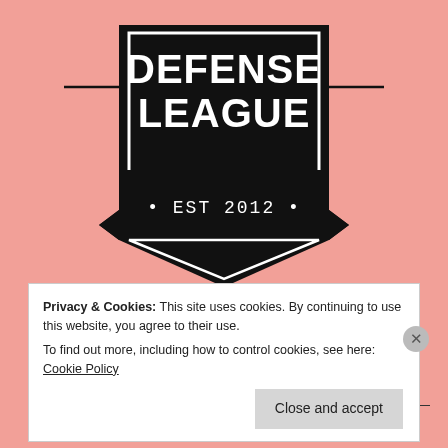[Figure (logo): Shield-shaped logo with text 'DEFENSE LEAGUE · EST 2012 ·' in black on white, with decorative banner ribbon at bottom]
Old Posts
The Tale Spinner
Privacy & Cookies: This site uses cookies. By continuing to use this website, you agree to their use.
To find out more, including how to control cookies, see here: Cookie Policy
Close and accept